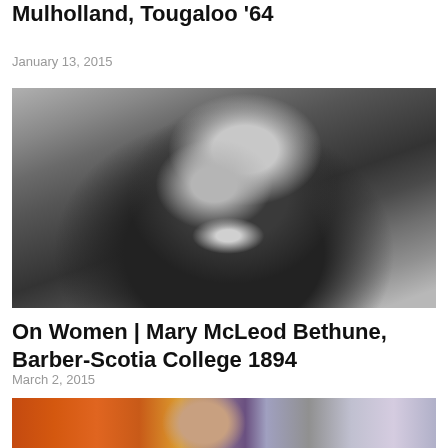Mulholland, Tougaloo '64
January 13, 2015
[Figure (photo): Black and white portrait photograph of an elderly woman looking upward, wearing a dark jacket with a white collar and pearl necklace.]
On Women | Mary McLeod Bethune, Barber-Scotia College 1894
March 2, 2015
[Figure (photo): Partial photo showing a woman in front of flags, cropped at bottom of page.]